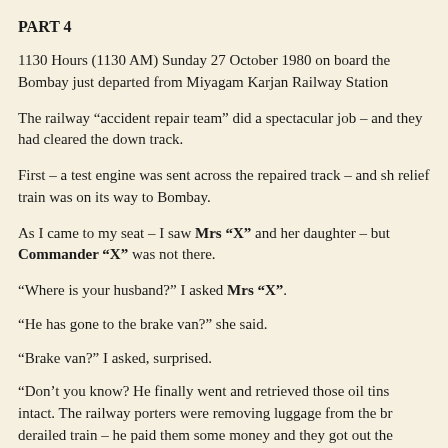PART 4
1130 Hours (1130 AM) Sunday 27 October 1980 on board the Bombay just departed from Miyagam Karjan Railway Station
The railway “accident repair team” did a spectacular job – and they had cleared the down track.
First – a test engine was sent across the repaired track – and sh relief train was on its way to Bombay.
As I came to my seat – I saw Mrs “X” and her daughter – but Commander “X” was not there.
“Where is your husband?” I asked Mrs “X”.
“He has gone to the brake van?” she said.
“Brake van?” I asked, surprised.
“Don’t you know? He finally went and retrieved those oil tins intact. The railway porters were removing luggage from the br derailed train – he paid them some money and they got out the compartment and they have put them in the baggage compartm of this relief train. So he has gone to check the brake van…